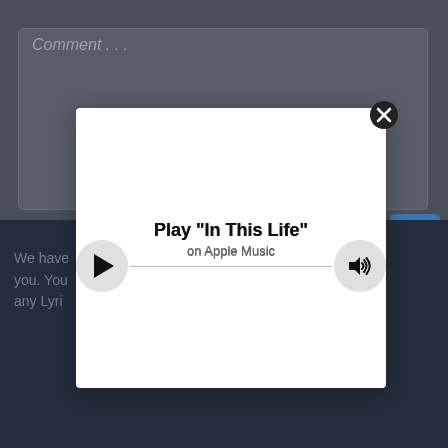[Figure (screenshot): Background of a webpage showing a comment text area with placeholder text 'Comment...' and a dark footer section with partial text about lyrics and an email address info[at]lyricsjonk.com]
[Figure (screenshot): Modal dialog with white background showing an Apple Music player widget. It has a play button on the left, a volume/speaker icon on the right, a horizontal line between them, and text reading 'Play "In This Life"' and 'on Apple Music'. A close (X) button is in the top-right corner of the modal.]
Play "In This Life"
on Apple Music
We have songs for you. You you have any Lyri contact
info[at]lyricsjonk.com